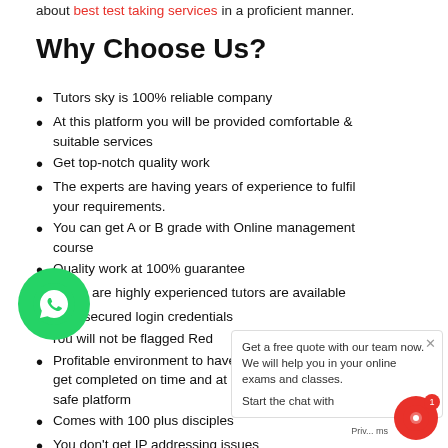about best test taking services in a proficient manner.
Why Choose Us?
Tutors sky is 100% reliable company
At this platform you will be provided comfortable & suitable services
Get top-notch quality work
The experts are having years of experience to fulfil your requirements.
You can get A or B grade with Online management course
Quality work at 100% guarantee
There are highly experienced tutors are available
etter, secured login credentials
You will not be flagged Red
Profitable environment to have all your p... get completed on time and at right mann... safe platform
Comes with 100 plus disciples
You don't get IP addressing issues
Get a free quote with our team now. We will help you in your online exams and classes. Start the chat with
[Figure (other): WhatsApp chat bubble icon - green circle with WhatsApp logo]